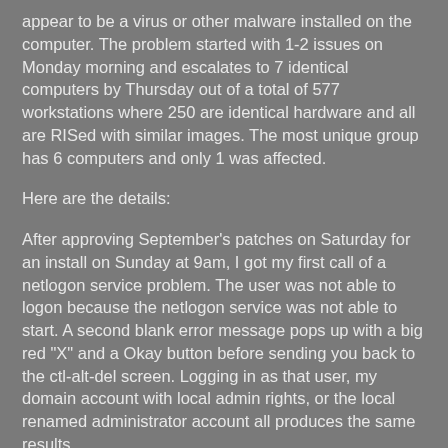appear to be a virus or other malware installed on the computer. The problem started with 1-2 issues on Monday morning and escalates to 7 identical computers by Thursday out of a total of 577 workstations where 250 are identical hardware and all are RISed with similar images. The most unique group has 6 computers and only 1 was affected.
Here are the details:
After approving September's patches on Saturday for an install on Sunday at 9am, I got my first call of a netlogon service problem. The user was not able to logon because the netlogon service was not able to start. A second blank error message pops up with a big red "X" and a Okay button before sending you back to the ctl-alt-del screen. Logging in as that user, my domain account with local admin rights, or the local renamed administrator account all produces the same results.
Going into Safe Mode, Safe Mode with Networking, Safe Mode with Command Prompt. All cause a hard reboot right when the graphics card should take off. The last Known